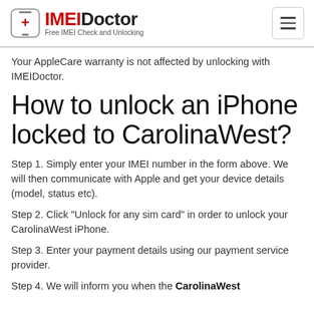IMEI Doctor — Free IMEI Check and Unlocking
Your AppleCare warranty is not affected by unlocking with IMEIDoctor.
How to unlock an iPhone locked to CarolinaWest?
Step 1. Simply enter your IMEI number in the form above. We will then communicate with Apple and get your device details (model, status etc).
Step 2. Click "Unlock for any sim card" in order to unlock your CarolinaWest iPhone.
Step 3. Enter your payment details using our payment service provider.
Step 4. We will inform you when the CarolinaWest